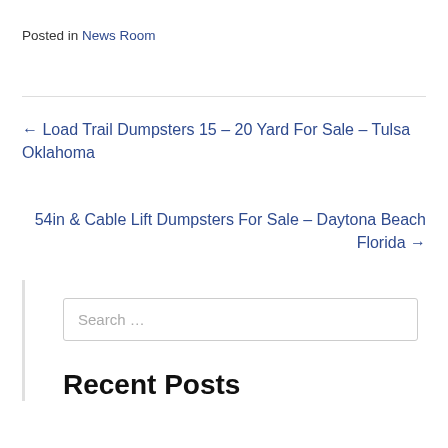Posted in News Room
← Load Trail Dumpsters 15 – 20 Yard For Sale – Tulsa Oklahoma
54in & Cable Lift Dumpsters For Sale – Daytona Beach Florida →
Search …
Recent Posts